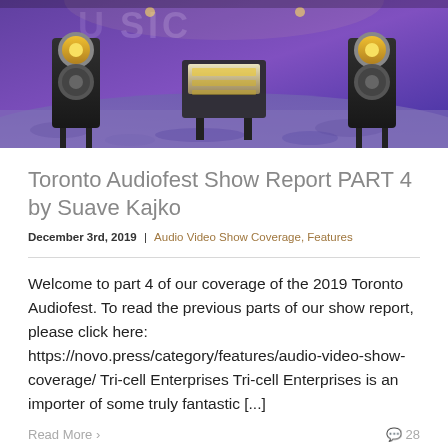[Figure (photo): Interior of an audio show room with large floor-standing speakers on either side, audio equipment on a stand in the center, purple/blue carpeted floor and stage lighting backdrop with 'MUSIC' partially visible.]
Toronto Audiofest Show Report PART 4 by Suave Kajko
December 3rd, 2019  |  Audio Video Show Coverage, Features
Welcome to part 4 of our coverage of the 2019 Toronto Audiofest. To read the previous parts of our show report, please click here: https://novo.press/category/features/audio-video-show-coverage/ Tri-cell Enterprises Tri-cell Enterprises is an importer of some truly fantastic [...]
Read More >